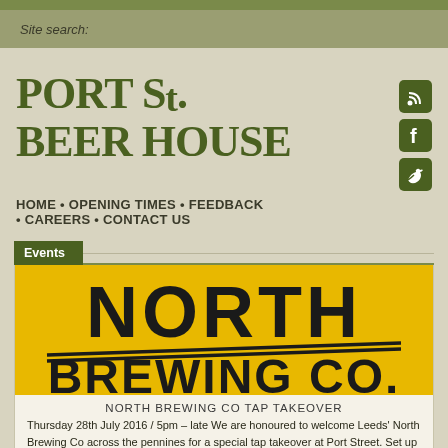Site search:
PORT St. BEER HOUSE
[Figure (logo): Social media icons: RSS feed, Facebook, Twitter in olive green rounded squares]
HOME • OPENING TIMES • FEEDBACK • CAREERS • CONTACT US
Events
[Figure (photo): North Brewing Co. logo on yellow background with large black text reading NORTH BREWING CO.]
NORTH BREWING CO TAP TAKEOVER
Thursday 28th July 2016 / 5pm – late We are honoured to welcome Leeds' North Brewing Co across the pennines for a special tap takeover at Port Street. Set up by the pioneering Leeds-based bar group North Bar Ltd and the successful team behind Belgrave Music Hall